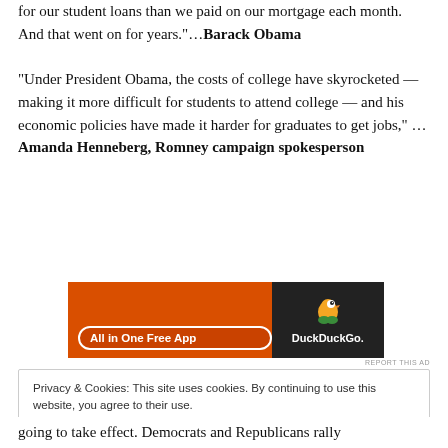for our student loans than we paid on our mortgage each month. And that went on for years."…Barack Obama
"Under President Obama, the costs of college have skyrocketed — making it more difficult for students to attend college — and his economic policies have made it harder for graduates to get jobs," …Amanda Henneberg, Romney campaign spokesperson
[Figure (other): DuckDuckGo advertisement banner: 'All in One Free App' button on orange background, DuckDuckGo logo and duck icon on dark background]
REPORT THIS AD
Privacy & Cookies: This site uses cookies. By continuing to use this website, you agree to their use.
To find out more, including how to control cookies, see here: Cookie Policy
Close and accept
going to take effect. Democrats and Republicans rally